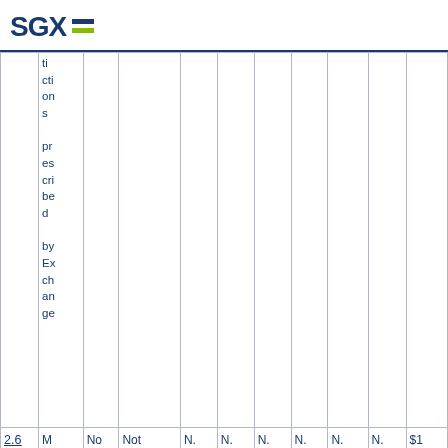SGX
|  | transactions prescribed by Exchange |  |  | N.A. | N.A. | N.A. | N.A. | N.A. | N.A. | $1 |
| 2.6 | M | No | Not | N.A. | N.A. | N.A. | N.A. | N.A. | N.A. | $1 |